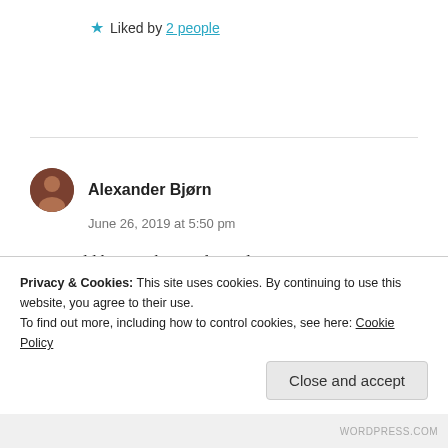★ Liked by 2 people
Alexander Bjørn
June 26, 2019 at 5:50 pm
He would have to be good one day at a time.
Love it. It sparks for me the feeling of how we really need to
Privacy & Cookies: This site uses cookies. By continuing to use this website, you agree to their use. To find out more, including how to control cookies, see here: Cookie Policy
Close and accept